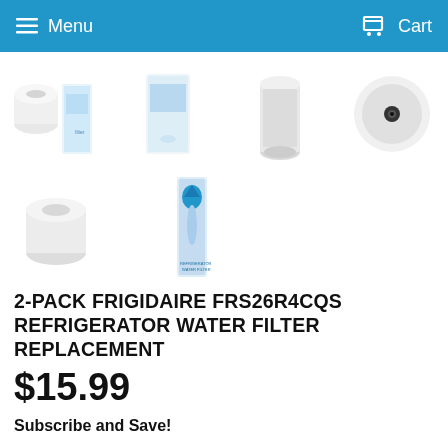Menu   Cart
[Figure (photo): Four product thumbnail images of refrigerator water filters in a row: a white cylindrical filter with packaging, a white box filter package, a white cylindrical filter, and a circular disc-shaped white filter end view]
[Figure (photo): Two product thumbnail images: a white cylindrical water filter and a tall slim water filter in blue branded packaging]
2-PACK FRIGIDAIRE FRS26R4CQS REFRIGERATOR WATER FILTER REPLACEMENT
$15.99
Subscribe and Save!